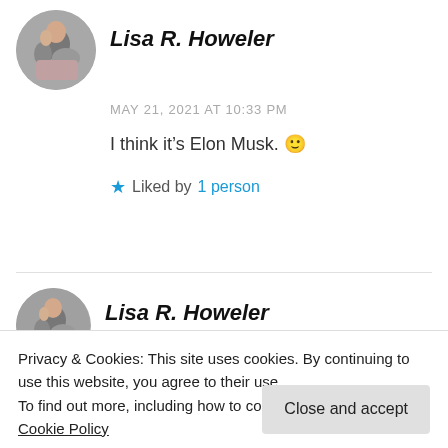Lisa R. Howeler
MAY 21, 2021 AT 10:33 PM
I think it's Elon Musk. 🙂
★ Liked by 1 person
Lisa R. Howeler
Privacy & Cookies: This site uses cookies. By continuing to use this website, you agree to their use.
To find out more, including how to control cookies, see here: Cookie Policy
Close and accept